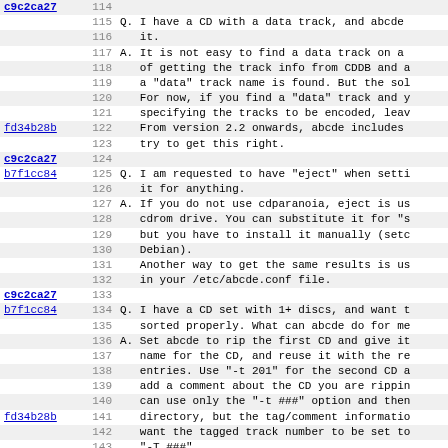| commit | line | text |
| --- | --- | --- |
| c9c2ca27 | 114 |  |
|  | 115 | Q. I have a CD with a data track, and abcde |
|  | 116 |    it. |
|  | 117 | A. It is not easy to find a data track on a |
|  | 118 |    of getting the track info from CDDB and a |
|  | 119 |    a "data" track name is found. But the sol |
|  | 120 |    For now, if you find a "data" track and y |
|  | 121 |    specifying the tracks to be encoded, leav |
| fd34b28b | 122 |    From version 2.2 onwards, abcde includes |
|  | 123 |    try to get this right. |
| c9c2ca27 | 124 |  |
| b7f1cc84 | 125 | Q. I am requested to have "eject" when setti |
|  | 126 |    it for anything. |
|  | 127 | A. If you do not use cdparanoia, eject is us |
|  | 128 |    cdrom drive. You can substitute it for "s |
|  | 129 |    but you have to install it manually (setc |
|  | 130 |    Debian). |
|  | 131 |    Another way to get the same results is us |
|  | 132 |    in your /etc/abcde.conf file. |
| c9c2ca27 | 133 |  |
| b7f1cc84 | 134 | Q. I have a CD set with 1+ discs, and want t |
|  | 135 |    sorted properly. What can abcde do for me |
|  | 136 | A. Set abcde to rip the first CD and give it |
|  | 137 |    name for the CD, and reuse it with the re |
|  | 138 |    entries. Use "-t 201" for the second CD a |
|  | 139 |    add a comment about the CD you are rippin |
|  | 140 |    can use only the "-t ###" option and then |
| fd34b28b | 141 |    directory, but the tag/comment informatio |
|  | 142 |    want the tagged track number to be set to |
|  | 143 |    "-T ###". |
|  | 144 |    Even better! If you use "-W <cd_number>", |
|  | 145 |    CD set ("CD <number>") and modify the num |
|  | 146 |    name and the tag/comment information. |